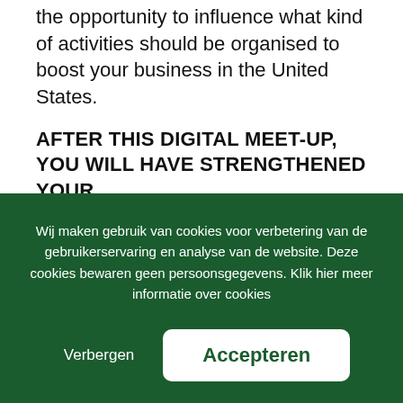the opportunity to influence what kind of activities should be organised to boost your business in the United States.
AFTER THIS DIGITAL MEET-UP, YOU WILL HAVE STRENGTHENED YOUR...
... knowledge of LSH opportunities in the United States.
... marketing strategy for 2020-2021
Wij maken gebruik van cookies voor verbetering van de gebruikerservaring en analyse van de website. Deze cookies bewaren geen persoonsgegevens. Klik hier meer informatie over cookies
Verbergen
Accepteren